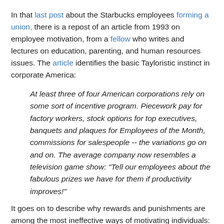In that last post about the Starbucks employees forming a union, there is a repost of an article from 1993 on employee motivation, from a fellow who writes and lectures on education, parenting, and human resources issues. The article identifies the basic Tayloristic instinct in corporate America:
At least three of four American corporations rely on some sort of incentive program. Piecework pay for factory workers, stock options for top executives, banquets and plaques for Employees of the Month, commissions for salespeople -- the variations go on and on. The average company now resembles a television game show: "Tell our employees about the fabulous prizes we have for them if productivity improves!"
It goes on to describe why rewards and punishments are among the most ineffective ways of motivating individuals:
While rewards are effective at producing temporary compliance, they are strikingly